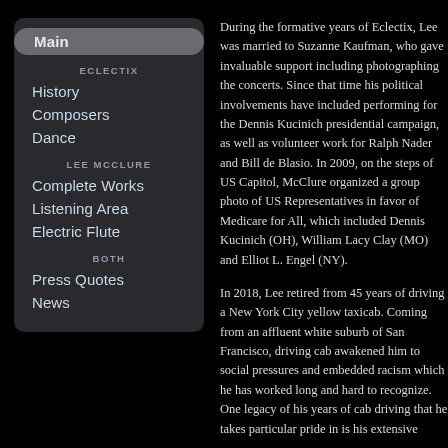Main
ECLECTIX
History
Composers
Dance
LEE McCLURE
Complete Works
Listening Area
Electric Flute
BOTH
Press Quotes
News
During the formative years of Eclectix, Lee was married to Suzanne Kaufman, who gave invaluable support including photographing the concerts. Since that time his political involvements have included performing for the Dennis Kucinich presidential campaign, as well as volunteer work for Ralph Nader and Bill de Blasio. In 2009, on the steps of US Capitol, McClure organized a group photo of US Representatives in favor of Medicare for All, which included Dennis Kucinich (OH), William Lacy Clay (MO) and Elliot L. Engel (NY).
In 2018, Lee retired from 45 years of driving a New York City yellow taxicab. Coming from an affluent white suburb of San Francisco, driving cab awakened him to social pressures and embedded racism which he has worked long and hard to recognize. One legacy of his years of cab driving that he takes particular pride in is his extensive collection of graffiti photos